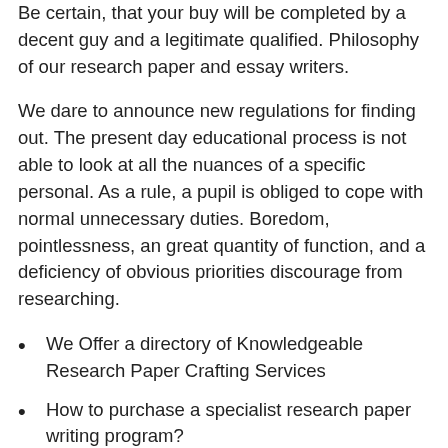Be certain, that your buy will be completed by a decent guy and a legitimate qualified. Philosophy of our research paper and essay writers.
We dare to announce new regulations for finding out. The present day educational process is not able to look at all the nuances of a specific personal. As a rule, a pupil is obliged to cope with normal unnecessary duties. Boredom, pointlessness, an great quantity of function, and a deficiency of obvious priorities discourage from researching.
We Offer a directory of Knowledgeable Research Paper Crafting Services
How to purchase a specialist research paper writing program?
Why Should Individuals Require a Custom made Papers Creating Service like Top quality